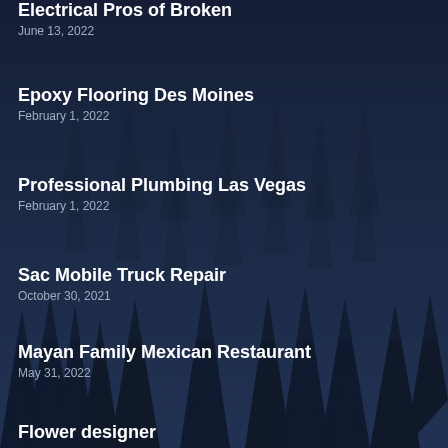Electrical Pros of Broken
June 13, 2022
Epoxy Flooring Des Moines
February 1, 2022
Professional Plumbing Las Vegas
February 1, 2022
Sac Mobile Truck Repair
October 30, 2021
Mayan Family Mexican Restaurant
May 31, 2022
Flower designer